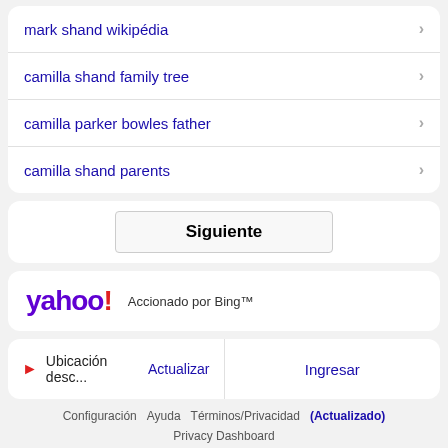mark shand wikipédia
camilla shand family tree
camilla parker bowles father
camilla shand parents
Siguiente
[Figure (logo): Yahoo! logo in purple with red exclamation mark, followed by text 'Accionado por Bing™']
Ubicación desc... Actualizar | Ingresar
Configuración  Ayuda  Términos/Privacidad (Actualizado)
Privacy Dashboard